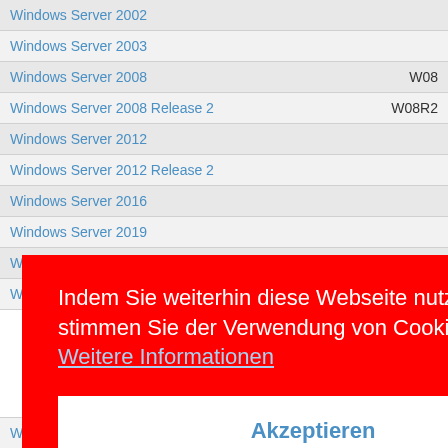| Name | Abbreviation |
| --- | --- |
| Windows Server 2002 |  |
| Windows Server 2003 |  |
| Windows Server 2008 | W08 |
| Windows Server 2008 Release 2 | W08R2 |
| Windows Server 2012 |  |
| Windows Server 2012 Release 2 |  |
| Windows Server 2016 |  |
| Windows Server 2019 |  |
| Windows Server 2022 |  |
| Windows Server AppFabric |  |
| Windows Subsystem for Linux GUI | WSLg |
Indem Sie weiterhin diese Webseite nutzen, stimmen Sie der Verwendung von Cookies zu.  Weitere Informationen
Akzeptieren